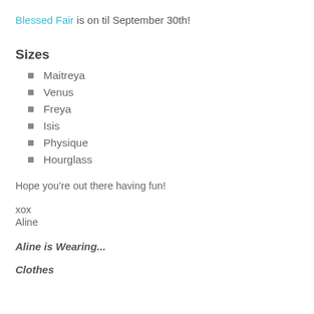Blessed Fair is on til September 30th!
Sizes
Maitreya
Venus
Freya
Isis
Physique
Hourglass
Hope you’re out there having fun!
xox
Aline
Aline is Wearing...
Clothes